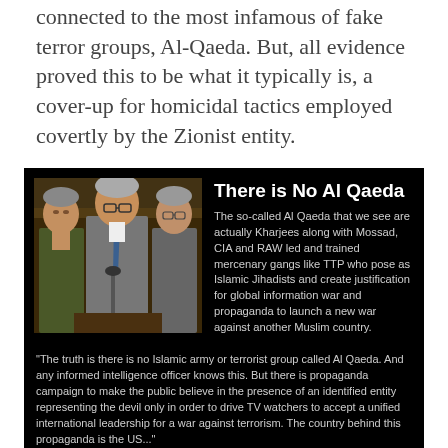connected to the most infamous of fake terror groups, Al-Qaeda. But, all evidence proved this to be what it typically is, a cover-up for homicidal tactics employed covertly by the Zionist entity.
[Figure (photo): Black background panel with a photo of three men in suits (appears to be British Parliament) on the left, and text overlay on the right reading 'There is No Al Qaeda' with explanatory text about Al Qaeda being Kharjees and mercenary gangs. Below the image is a quote attributed to Former British Foreign Secretary Robin Cook.]